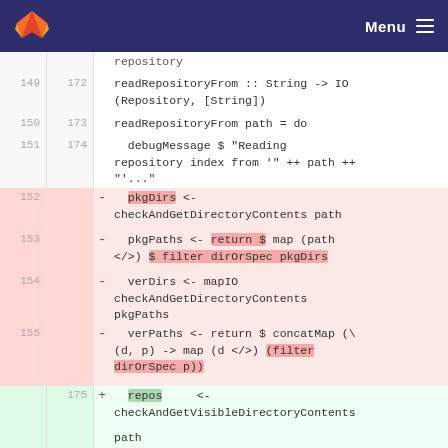GitLab — Menu
repository
149  172  readRepositoryFrom :: String -> IO (Repository, [String])
150  173  readRepositoryFrom path = do
151  174    debugMessage $ "Reading repository index from '" ++ path ++ "'..."
152  -  pkgDirs <- checkAndGetDirectoryContents path
153  -  pkgPaths <- return $ map (path </>) $ filter dirOrSpec pkgDirs
154  -  verDirs <- mapIO checkAndGetDirectoryContents pkgPaths
155  -  verPaths <- return $ concatMap (\(d, p) -> map (d </>) (filter dirOrSpec p))
     175  +  repos <- checkAndGetVisibleDirectoryContents path